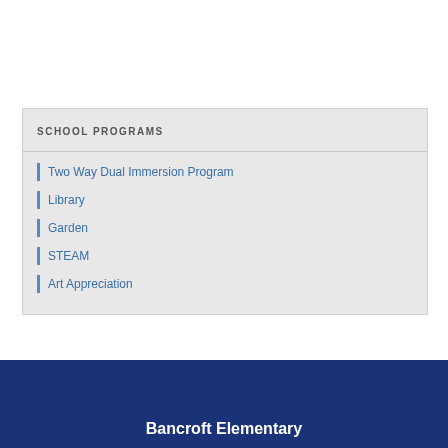SCHOOL PROGRAMS
Two Way Dual Immersion Program
Library
Garden
STEAM
Art Appreciation
Bancroft Elementary